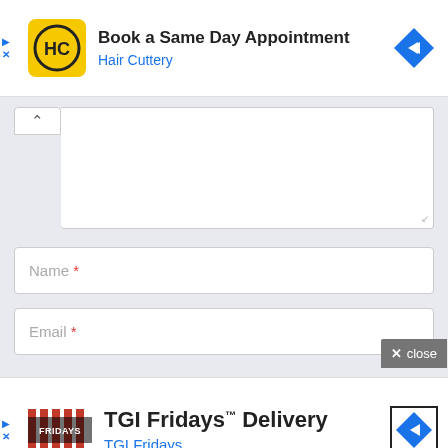[Figure (screenshot): Hair Cuttery advertisement banner: HC logo (yellow circle with HC letters), title 'Book a Same Day Appointment', subtitle 'Hair Cuttery' in blue, blue diamond navigation icon on right. Play and X controls on left side.]
[Figure (screenshot): Web form area with collapse/expand button (caret up), large textarea input box, Name field with asterisk (required), Email field with asterisk (required), and a grey 'close' button in bottom right.]
[Figure (screenshot): TGI Fridays advertisement banner: TGI Fridays logo (striped red/white), title 'TGI Fridays™ Delivery', subtitle 'TGI Fridays' in blue, navigation icon on right. Play and X controls on left side.]